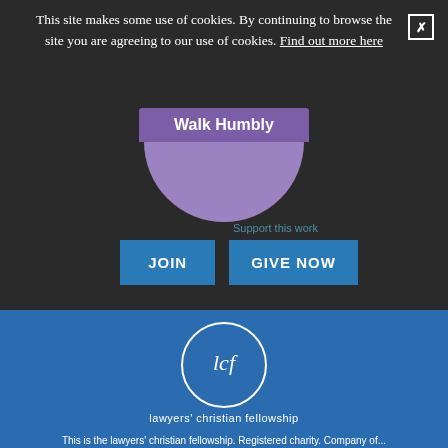This site makes some use of cookies. By continuing to browse the site you are agreeing to our use of cookies. Find out more here
[Figure (illustration): Walk Humbly purple tab with rounded bottom circle element on dark background]
Support this work
JOIN
GIVE NOW
[Figure (logo): LCF Lawyers' Christian Fellowship logo — white circle outline with 'lcf' text and 'lawyers' christian fellowship' below]
This is the lawyers' christian fellowship. Registered charity. Company of...